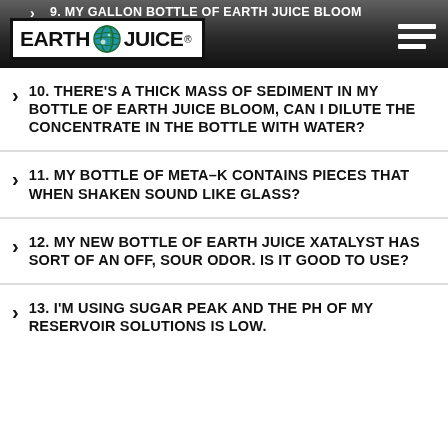9. MY GALLON BOTTLE OF EARTH JUICE BLOOM
[Figure (logo): Earth Juice logo — white box with bold text EARTH JUICE and a globe icon between the words, on dark gradient header bar with hamburger menu icon on right]
10. THERE'S A THICK MASS OF SEDIMENT IN MY BOTTLE OF EARTH JUICE BLOOM, CAN I DILUTE THE CONCENTRATE IN THE BOTTLE WITH WATER?
11. MY BOTTLE OF META–K CONTAINS PIECES THAT WHEN SHAKEN SOUND LIKE GLASS?
12. MY NEW BOTTLE OF EARTH JUICE XATALYST HAS SORT OF AN OFF, SOUR ODOR. IS IT GOOD TO USE?
13. I'M USING SUGAR PEAK AND THE PH OF MY RESERVOIR SOLUTIONS IS LOW.